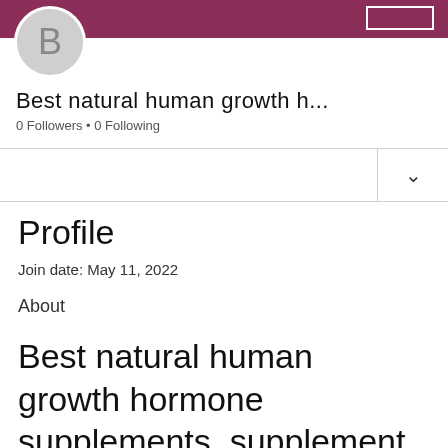[Figure (screenshot): User profile header banner in dark magenta/purple color with avatar circle showing letter B and a follow button outline on the right]
Best natural human growth h...
0 Followers • 0 Following
Profile
Join date: May 11, 2022
About
Best natural human growth hormone supplements, supplement